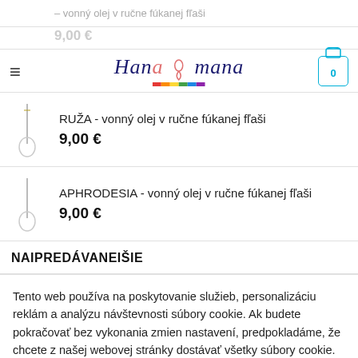Hana mana — navigation header with logo and cart
9,00 €
[Figure (photo): Glass bottle with yellow stopper on a thin stick — product photo for RUŽA vonný olej]
RUŽA - vonný olej v ručne fúkanej fľaši
9,00 €
[Figure (photo): Glass bottle with dark stopper on a thin stick — product photo for APHRODESIA vonný olej]
APHRODESIA - vonný olej v ručne fúkanej fľaši
9,00 €
NAIPREDÁVANEIŠIE
Tento web používa na poskytovanie služieb, personalizáciu reklám a analýzu návštevnosti súbory cookie. Ak budete pokračovať bez vykonania zmien nastavení, predpokladáme, že chcete z našej webovej stránky dostávať všetky súbory cookie.
Nastavenie cookies
Rozumiem